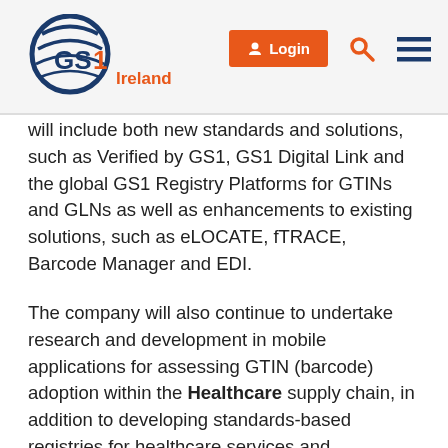[Figure (logo): GS1 Ireland logo with circular globe graphic and orange Ireland text]
will include both new standards and solutions, such as Verified by GS1, GS1 Digital Link and the global GS1 Registry Platforms for GTINs and GLNs as well as enhancements to existing solutions, such as eLOCATE, fTRACE, Barcode Manager and EDI.
The company will also continue to undertake research and development in mobile applications for assessing GTIN (barcode) adoption within the Healthcare supply chain, in addition to developing standards-based registries for healthcare services and traceability/tracking solutions for precious samples and specialist baby feeds.
We also recognise and will pursue the opportunity for our standards & solutions to be used in Building Information Management (BIM), to enable the identification, capturing, sharing and use of data pertaining to locations, assets and